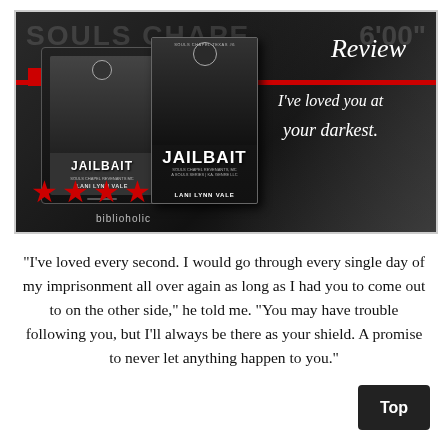[Figure (illustration): Book review banner image with black and white background showing a man, two book covers for 'Jailbait' by Lani Lynn Vale (one as ebook tablet, one as physical book), a red horizontal line accent, 'Review' in script text, a script quote 'I've loved you at your darkest.', four red stars, and 'biblioholic' text.]
"I've loved every second. I would go through every single day of my imprisonment all over again as long as I had you to come out to on the other side," he told me. "You may have trouble following you, but I'll always be there as your shield. A promise to never let anything happen to you."